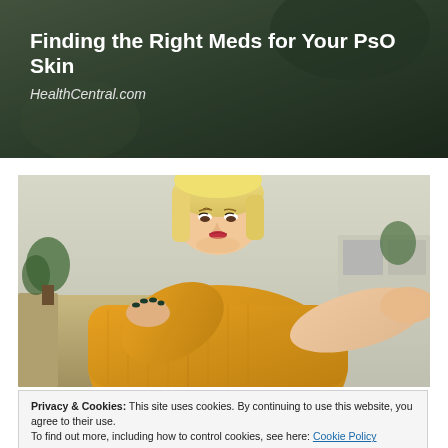Finding the Right Meds for Your PsO Skin
HealthCentral.com
[Figure (photo): A blonde woman in a yellow knit sweater looking down at her elbow, which she is examining with her other hand. She has dark nail polish. Background shows a couch and indoor plants.]
Privacy & Cookies: This site uses cookies. By continuing to use this website, you agree to their use.
To find out more, including how to control cookies, see here: Cookie Policy
Close and accept